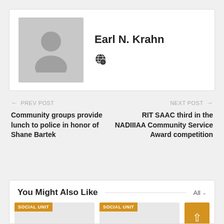[Figure (photo): Author profile card with grey placeholder avatar silhouette and globe icon]
Earl N. Krahn
← PREV POST
Community groups provide lunch to police in honor of Shane Bartek
NEXT POST →
RIT SAAC third in the NADIIIAA Community Service Award competition
You Might Also Like
SOCIAL UNIT
SOCIAL UNIT